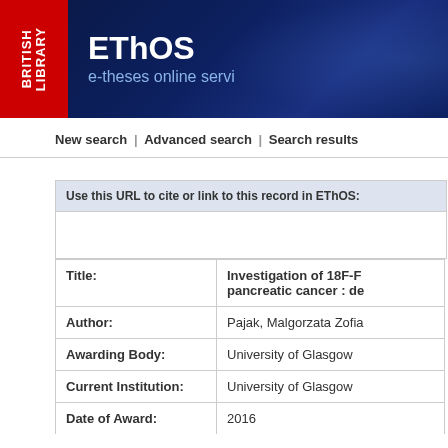[Figure (logo): British Library EThOS (e-theses online service) header banner with red British Library logo on left and dark blue EThOS banner on right]
New search | Advanced search | Search results
| Use this URL to cite or link to this record in EThOS: |  |
| Title: | Investigation of 18F-F... pancreatic cancer : de... |
| Author: | Pajak, Malgorzata Zofia |
| Awarding Body: | University of Glasgow |
| Current Institution: | University of Glasgow |
| Date of Award: | 2016 |